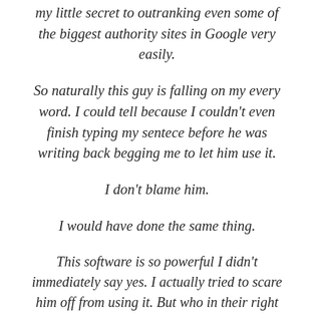my little secret to outranking even some of the biggest authority sites in Google very easily.
So naturally this guy is falling on my every word. I could tell because I couldn't even finish typing my sentece before he was writing back begging me to let him use it.
I don't blame him.
I would have done the same thing.
This software is so powerful I didn't immediately say yes. I actually tried to scare him off from using it. But who in their right mind is going to turn down a tool that literally hands them the keys to